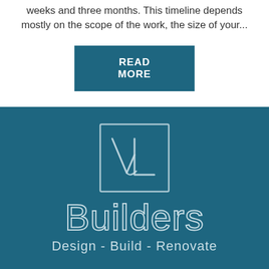weeks and three months. This timeline depends mostly on the scope of the work, the size of your...
READ MORE
[Figure (logo): VL Builders logo: a hand-drawn VL monogram inside a square outline, with the text 'Builders' in outline font and 'Design - Build - Renovate' tagline below, all on a teal/dark blue background]